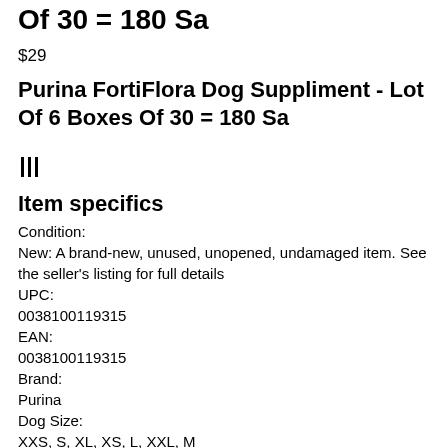Of 30 = 180 Sa
$29
Purina FortiFlora Dog Suppliment - Lot Of 6 Boxes Of 30 = 180 Sa
[Figure (other): Barcode image represented as vertical lines (|||)]
Item specifics
Condition:
New: A brand-new, unused, unopened, undamaged item. See the seller's listing for full details
UPC:
0038100119315
EAN:
0038100119315
Brand:
Purina
Dog Size:
XXS, S, XL, XS, L, XXL, M
Life Stage: